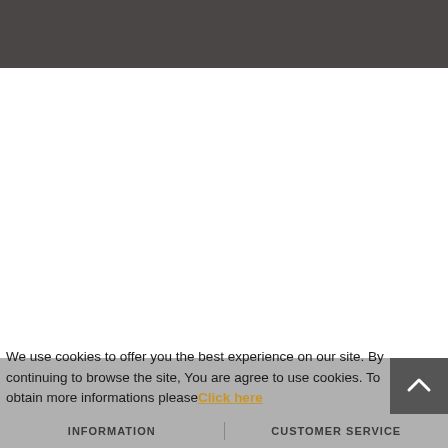[Figure (screenshot): Dark grey header bar of a website]
We use cookies to offer you the best experience on our site. By continuing to browse the site, You are agree to use cookies. To obtain more informations please Click here
INFORMATION   CUSTOMER SERVICE